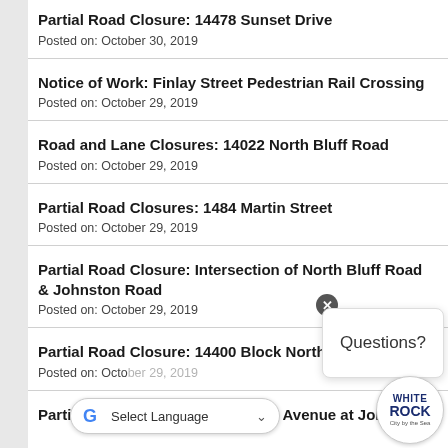Partial Road Closure: 14478 Sunset Drive
Posted on: October 30, 2019
Notice of Work: Finlay Street Pedestrian Rail Crossing
Posted on: October 29, 2019
Road and Lane Closures: 14022 North Bluff Road
Posted on: October 29, 2019
Partial Road Closures: 1484 Martin Street
Posted on: October 29, 2019
Partial Road Closure: Intersection of North Bluff Road & Johnston Road
Posted on: October 29, 2019
Partial Road Closure: 14400 Block North Bluff Road
Posted on: October 29, 2019
Partial Road Closure: 15177 Thrift Avenue at Johnston